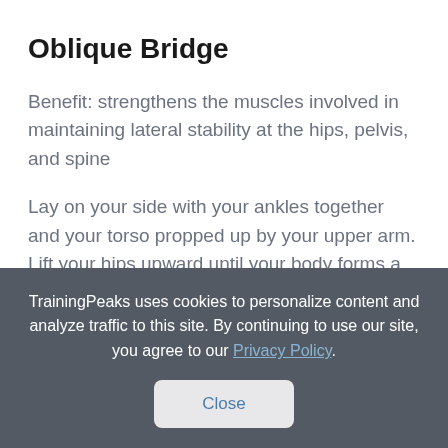Oblique Bridge
Benefit: strengthens the muscles involved in maintaining lateral stability at the hips, pelvis, and spine
Lay on your side with your ankles together and your torso propped up by your upper arm. Lift your hips upward until your body forms a diagonal plank from ankles to neck. Hold this
TrainingPeaks uses cookies to personalize content and analyze traffic to this site. By continuing to use our site, you agree to our Privacy Policy.